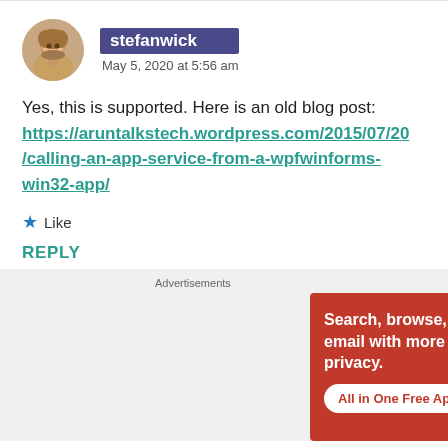stefanwick
May 5, 2020 at 5:56 am
Yes, this is supported. Here is an old blog post: https://aruntalkstech.wordpress.com/2015/07/20/calling-an-app-service-from-a-wpfwinforms-win32-app/
Like
REPLY
[Figure (screenshot): DuckDuckGo advertisement banner with orange/red background showing 'Search, browse, and email with more privacy. All in One Free App' with a phone image and DuckDuckGo logo]